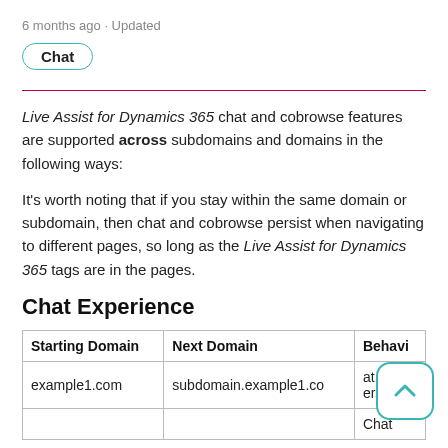6 months ago · Updated
Chat
Live Assist for Dynamics 365 chat and cobrowse features are supported across subdomains and domains in the following ways:
It's worth noting that if you stay within the same domain or subdomain, then chat and cobrowse persist when navigating to different pages, so long as the Live Assist for Dynamics 365 tags are in the pages.
Chat Experience
| Starting Domain | Next Domain | Behavi |
| --- | --- | --- |
| example1.com | subdomain.example1.co | at
ersist |
|  |  | Chat |